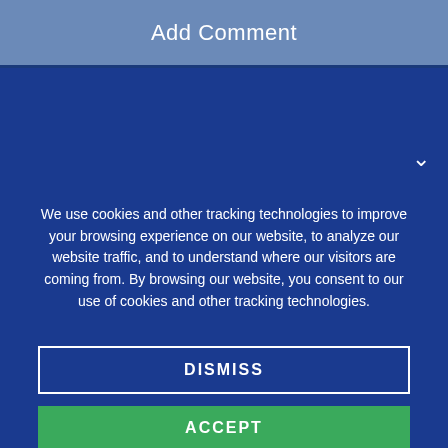Add Comment
We use cookies and other tracking technologies to improve your browsing experience on our website, to analyze our website traffic, and to understand where our visitors are coming from. By browsing our website, you consent to our use of cookies and other tracking technologies.
DISMISS
ACCEPT
MORE
[Figure (illustration): Fingerprint icon in white outline style]